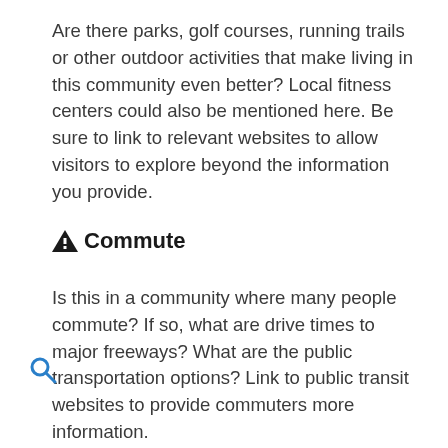Are there parks, golf courses, running trails or other outdoor activities that make living in this community even better? Local fitness centers could also be mentioned here. Be sure to link to relevant websites to allow visitors to explore beyond the information you provide.
Commute
Is this in a community where many people commute? If so, what are drive times to major freeways? What are the public transportation options? Link to public transit websites to provide commuters more information.